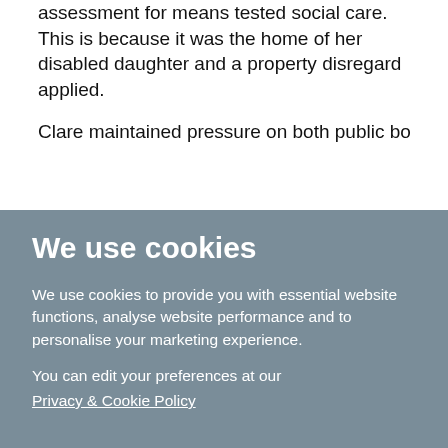assessment for means tested social care. This is because it was the home of her disabled daughter and a property disregard applied.
Clare maintained pressure on both public bodies to resolve
We use cookies
We use cookies to provide you with essential website functions, analyse website performance and to personalise your marketing experience.
You can edit your preferences at our Privacy & Cookie Policy
Accept Recommended Cookies & Continue